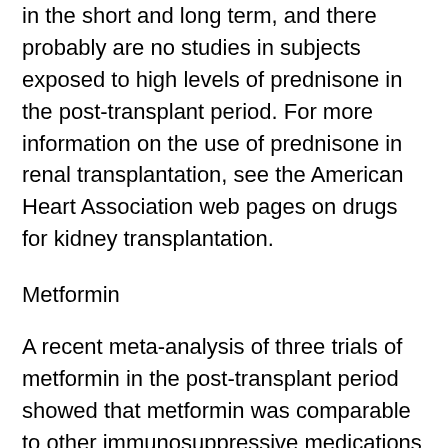in the short and long term, and there probably are no studies in subjects exposed to high levels of prednisone in the post-transplant period. For more information on the use of prednisone in renal transplantation, see the American Heart Association web pages on drugs for kidney transplantation.
Metformin
A recent meta-analysis of three trials of metformin in the post-transplant period showed that metformin was comparable to other immunosuppressive medications at stopping the occurrence of sepsis, Neptune.15 In an ongoing clinical trial assessing metformin against methotrexate in a group of patients with septic shock, metformin is being used more frequently, with one study showing that metformin in the range of 30mg/day